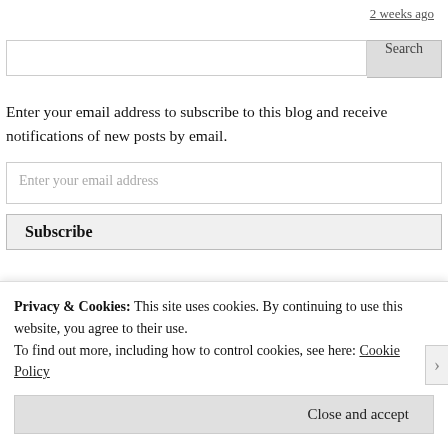2 weeks ago
[Figure (other): Search input field with Search button]
Enter your email address to subscribe to this blog and receive notifications of new posts by email.
[Figure (other): Email address input field with placeholder 'Enter your email address']
[Figure (other): Subscribe button]
Privacy & Cookies: This site uses cookies. By continuing to use this website, you agree to their use.
To find out more, including how to control cookies, see here: Cookie Policy
Close and accept